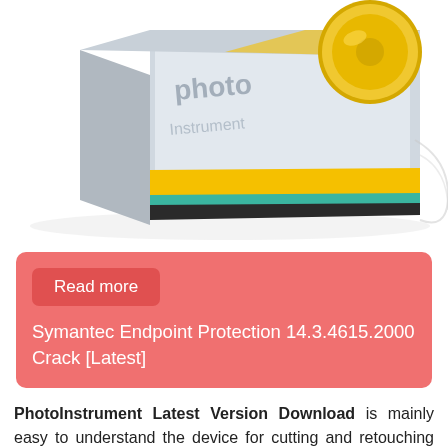[Figure (photo): Product box of PhotoInstrument software with a gold medal/CD visible, silver and yellow box design on white background]
Read more
Symantec Endpoint Protection 14.3.4615.2000 Crack [Latest]
PhotoInstrument Latest Version Download is mainly easy to understand the device for cutting and retouching the picture. PhotoInstrument License File is very simple as well as user-friendly to make use of, so it could be utilized by actually the majority of beginner customers. The